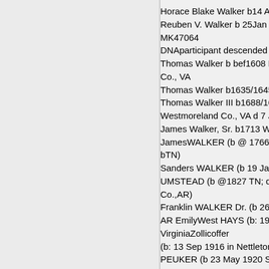Horace Blake Walker b14 Aug 1888 Reuben V. Walker b 25Jan 1913 B MK47064 DNAparticipant descended from: Thomas Walker b bef1608 Derbys Co., VA Thomas Walker b1635/1645 d 171 Thomas Walker III b1688/1690 We Westmoreland Co., VA d 7 Jan 17 James Walker, Sr. b1713 Westmo JamesWALKER (b @ 1766; d 31 M bTN) Sanders WALKER (b 19 Jan 1815 UMSTEAD (b @1827 TN; d 1897 Co.,AR) Franklin WALKER Dr. (b 26 Nov 1 AR EmilyWest HAYS (b: 19 Sep 1 VirginiaZollicoffer (b: 13 Sep 1916 in Nettleton, AR c PEUKER (b 23 May 1920 San Ant